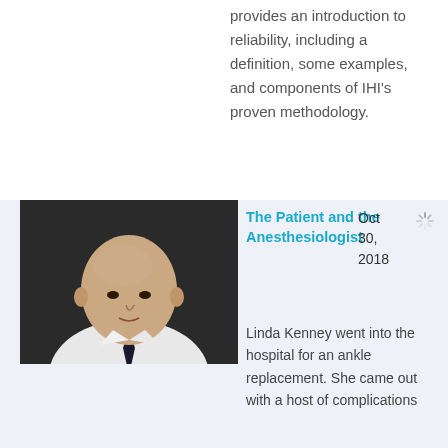provides an introduction to reliability, including a definition, some examples, and components of IHI's proven methodology.
[Figure (photo): A bald man in a white shirt and dark tie photographed from the shoulders up against a dark background.]
The Patient and the Anesthesiologist
Oct 30, 2018
Linda Kenney went into the hospital for an ankle replacement. She came out with a host of complications